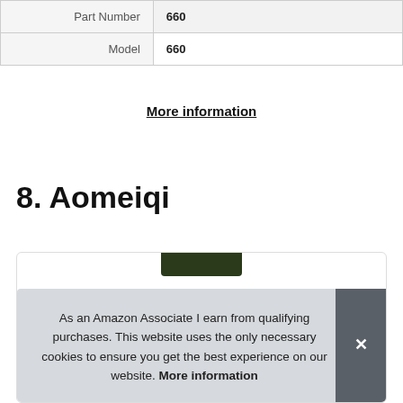| Part Number | 660 |
| Model | 660 |
More information
8. Aomeiqi
As an Amazon Associate I earn from qualifying purchases. This website uses the only necessary cookies to ensure you get the best experience on our website. More information